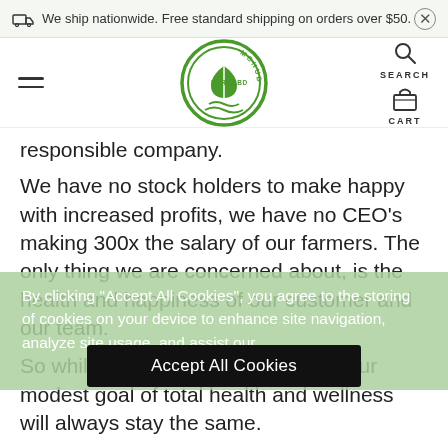We ship nationwide. Free standard shipping on orders over $50.
[Figure (logo): McHudson Pure CBD Farms circular logo with green leaf/plant icon]
responsible company.
We have no stock holders to make happy with increased profits, we have no CEO’s making 300x the salary of our farmers. The only thing we are concerned about, is the health and happiness of our customer and our team.
So while our family may get larger, our modest goal of total health and wellness will always stay the same.
Quality CBD fo
Every person walks a different path, and each path